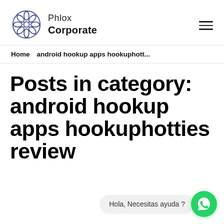Phlox Corporate
Home  android hookup apps hookuphott...
Posts in category: android hookup apps hookuphotties review
Hola, Necesitas ayuda ?